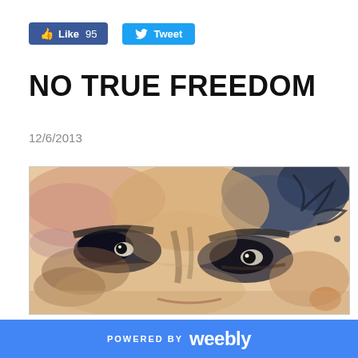[Figure (other): Facebook Like button showing 95 likes and a Twitter Tweet button]
NO TRUE FREEDOM
12/6/2013
[Figure (illustration): Watercolor portrait painting of a person's face close-up, showing eyes and forehead with expressive brushstrokes in warm browns, blues, and dark tones]
POWERED BY weebly